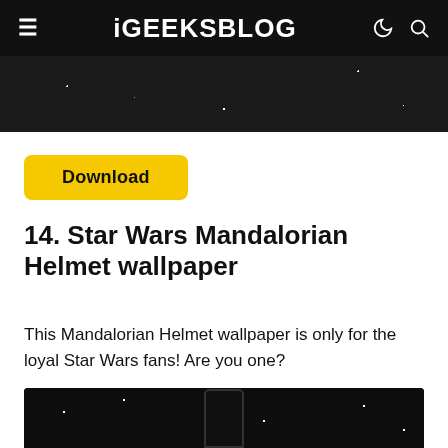iGEEKSBLOG
[Figure (photo): Dark starfield image strip at top of page, partial view of image above]
Download
14. Star Wars Mandalorian Helmet wallpaper
This Mandalorian Helmet wallpaper is only for the loyal Star Wars fans! Are you one?
[Figure (photo): Dark starfield background with phone showing Mandalorian wallpaper, bottom portion visible]